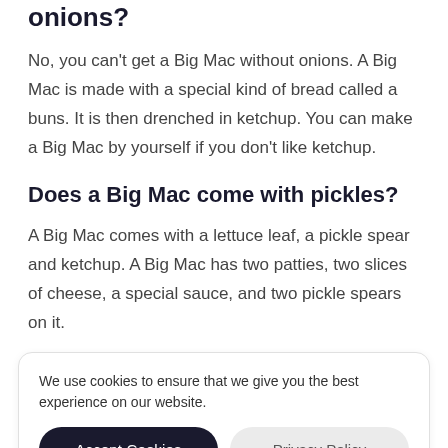onions?
No, you can't get a Big Mac without onions. A Big Mac is made with a special kind of bread called a buns. It is then drenched in ketchup. You can make a Big Mac by yourself if you don't like ketchup.
Does a Big Mac come with pickles?
A Big Mac comes with a lettuce leaf, a pickle spear and ketchup. A Big Mac has two patties, two slices of cheese, a special sauce, and two pickle spears on it.
We use cookies to ensure that we give you the best experience on our website.
2. The hamburger has two patties and one slice of